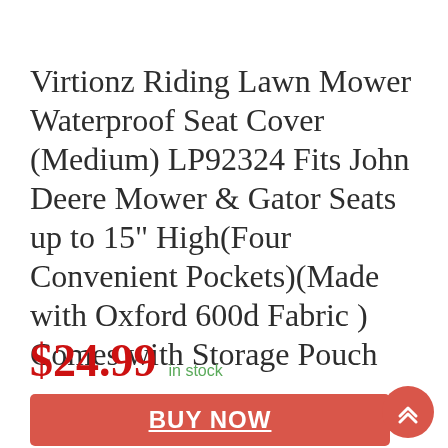Virtionz Riding Lawn Mower Waterproof Seat Cover (Medium) LP92324 Fits John Deere Mower & Gator Seats up to 15" High(Four Convenient Pockets)(Made with Oxford 600d Fabric ) Comes with Storage Pouch
$24.99 in stock
BUY NOW